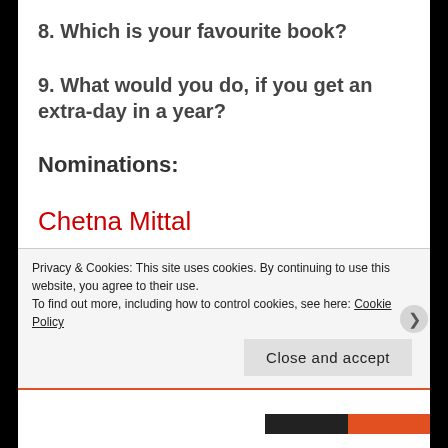8. Which is your favourite book?
9. What would you do, if you get an extra-day in a year?
Nominations:
Chetna Mittal
SONAL MISHRA
Privacy & Cookies: This site uses cookies. By continuing to use this website, you agree to their use.
To find out more, including how to control cookies, see here: Cookie Policy
Close and accept